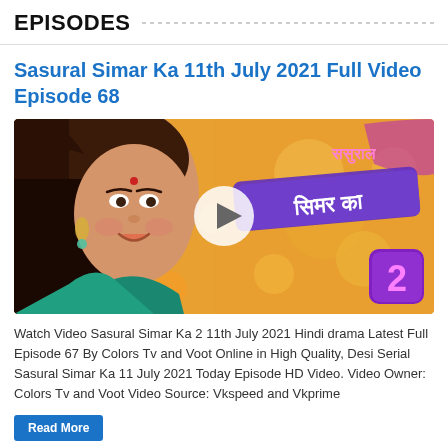EPISODES
Sasural Simar Ka 11th July 2021 Full Video Episode 68
[Figure (photo): Thumbnail image of Sasural Simar Ka 2 TV show featuring a smiling woman in traditional Indian attire with the show logo and a play button overlay.]
Watch Video Sasural Simar Ka 2 11th July 2021 Hindi drama Latest Full Episode 67 By Colors Tv and Voot Online in High Quality, Desi Serial Sasural Simar Ka 11 July 2021 Today Episode HD Video. Video Owner: Colors Tv and Voot Video Source: Vkspeed and Vkprime